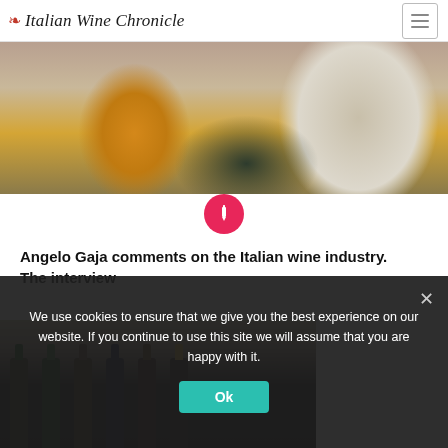Italian Wine Chronicle
[Figure (photo): Person sitting on a white couch wearing mustard/yellow pants and dark top]
[Figure (illustration): Pink/red circle with white pen/pencil icon in center]
Angelo Gaja comments on the Italian wine industry. The interview
[Figure (photo): Row of dark wine bottles on a shelf with various colored caps]
We use cookies to ensure that we give you the best experience on our website. If you continue to use this site we will assume that you are happy with it.